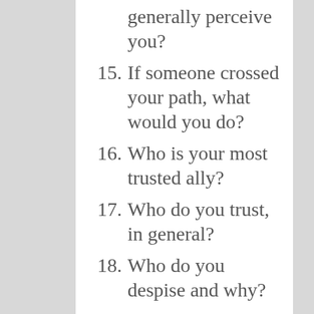generally perceive you?
15. If someone crossed your path, what would you do?
16. Who is your most trusted ally?
17. Who do you trust, in general?
18. Who do you despise and why?
19. Name seven things you hate in others.
20. Is your image consistent?
21. Do people see you in